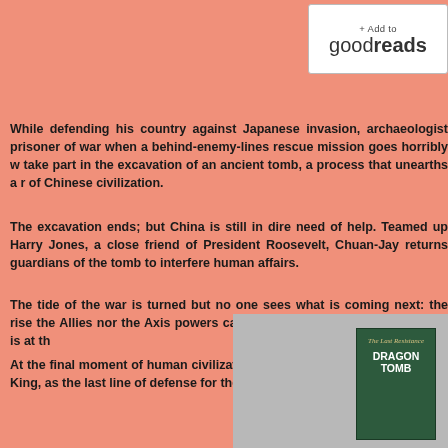[Figure (screenshot): Add to Goodreads button with white background, showing '+ Add to goodreads' text]
While defending his country against Japanese invasion, archaeologist prisoner of war when a behind-enemy-lines rescue mission goes horribly w take part in the excavation of an ancient tomb, a process that unearths a r of Chinese civilization.
The excavation ends; but China is still in dire need of help. Teamed up Harry Jones, a close friend of President Roosevelt, Chuan-Jay returns guardians of the tomb to interfere human affairs.
The tide of the war is turned but no one sees what is coming next: the rise the Allies nor the Axis powers can stand in its way. Soon, our world is at th
At the final moment of human civilization, Chuan-Jay finds himself standi King, as the last line of defense for the survival of mankind.
[Figure (photo): Book cover of 'The Last Resistance Dragon Tomb' shown against a grey background with a decorative dragon or creature figure partially visible]